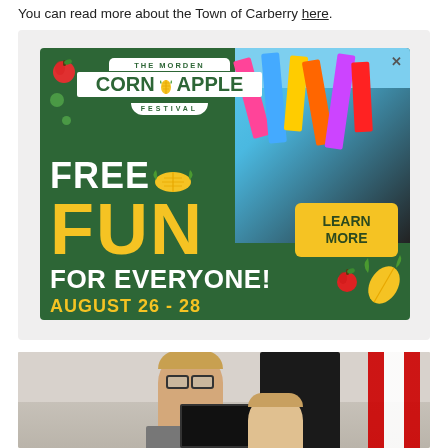You can read more about the Town of Carberry here.
[Figure (photo): Advertisement for The Morden Corn and Apple Festival. Green background with text: FREE FUN FOR EVERYONE! AUGUST 26 - 28. Includes LEARN MORE button. Carnival rides visible on right side.]
[Figure (photo): Photo of two people seated at a table in an official-looking room with a Canadian flag visible on the right side.]